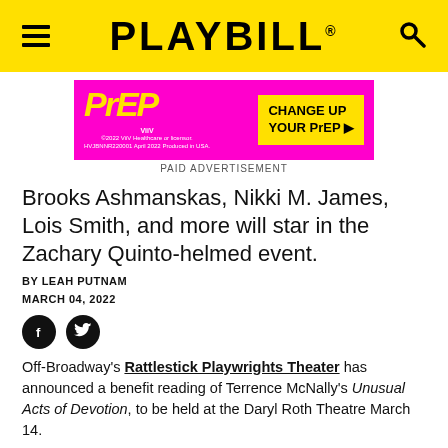PLAYBILL
[Figure (advertisement): PrEP medication advertisement by ViiV Healthcare in magenta/pink with yellow PrEP logo text and 'CHANGE UP YOUR PrEP' call to action]
PAID ADVERTISEMENT
Brooks Ashmanskas, Nikki M. James, Lois Smith, and more will star in the Zachary Quinto-helmed event.
BY LEAH PUTNAM
MARCH 04, 2022
Off-Broadway's Rattlestick Playwrights Theater has announced a benefit reading of Terrence McNally's Unusual Acts of Devotion, to be held at the Daryl Roth Theatre March 14.